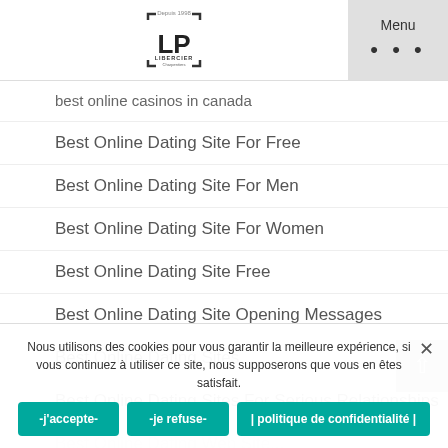[Figure (logo): LP Libercier logo with 'Depuis 1998' text and bracket design]
best online casinos in canada
Best Online Dating Site For Free
Best Online Dating Site For Men
Best Online Dating Site For Women
Best Online Dating Site Free
Best Online Dating Site Opening Messages
Best Online Dating Sites
Best Online Dating Sites For Serious Relationships
Nous utilisons des cookies pour vous garantir la meilleure expérience, si vous continuez à utiliser ce site, nous supposerons que vous en êtes satisfait.
-j'accepte-  -je refuse-  | politique de confidentialité |